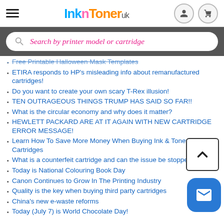InknToner UK
[Figure (screenshot): Search bar with placeholder text 'Search by printer model or cartridge']
Free Printable Halloween Mask Templates
ETIRA responds to HP's misleading info about remanufactured cartridges!
Do you want to create your own scary T-Rex illusion!
TEN OUTRAGEOUS THINGS TRUMP HAS SAID SO FAR!!
What is the circular economy and why does it matter?
HEWLETT PACKARD ARE AT IT AGAIN WITH NEW CARTRIDGE ERROR MESSAGE!
Learn How To Save More Money When Buying Ink & Toner Cartridges
What is a counterfeit cartridge and can the issue be stopped?
Today is National Colouring Book Day
Canon Continues to Grow In The Printing Industry
Quality is the key when buying third party cartridges
China's new e-waste reforms
Today (July 7) is World Chocolate Day!